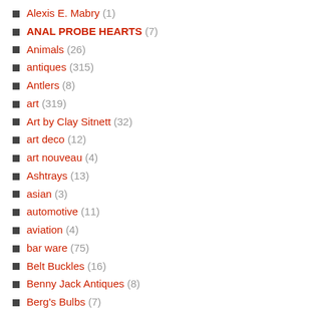Alexis E. Mabry (1)
ANAL PROBE HEARTS (7)
Animals (26)
antiques (315)
Antlers (8)
art (319)
Art by Clay Sitnett (32)
art deco (12)
art nouveau (4)
Ashtrays (13)
asian (3)
automotive (11)
aviation (4)
bar ware (75)
Belt Buckles (16)
Benny Jack Antiques (8)
Berg's Bulbs (7)
Beth's Addictions. (8)
Biker (19)
bikes and such (13)
black americana (10)
black light note (18)